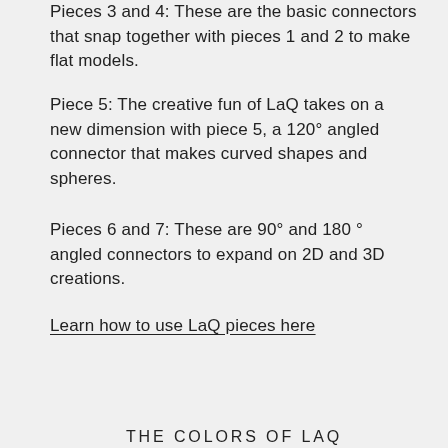Pieces 3 and 4: These are the basic connectors that snap together with pieces 1 and 2 to make flat models.
Piece 5: The creative fun of LaQ takes on a new dimension with piece 5, a 120° angled connector that makes curved shapes and spheres.
Pieces 6 and 7: These are 90° and 180 ° angled connectors to expand on 2D and 3D creations.
Learn how to use LaQ pieces here
THE COLORS OF LAQ
[Figure (photo): A row of colorful LaQ connector pieces in various colors: red, blue, yellow, green, pink, teal/cyan, orange, lime green, brown, white, light gray, dark gray/black, arranged side by side.]